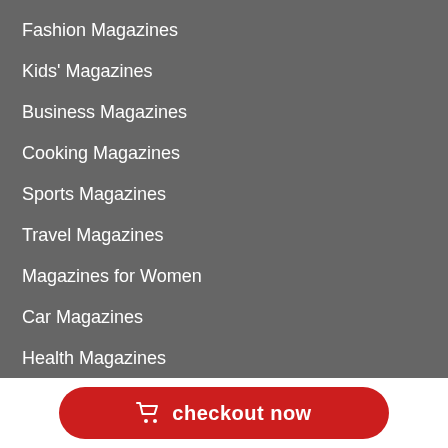Fashion Magazines
Kids' Magazines
Business Magazines
Cooking Magazines
Sports Magazines
Travel Magazines
Magazines for Women
Car Magazines
Health Magazines
checkout now